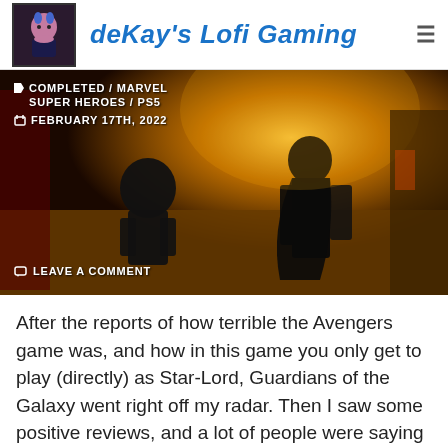deKay's Lofi Gaming
[Figure (screenshot): Video game screenshot showing two characters walking on a golden-lit cobblestone street, with warm orange ambient lighting. Overlaid text shows post metadata: COMPLETED / MARVEL SUPER HEROES / PS5, FEBRUARY 17TH, 2022, LEAVE A COMMENT]
After the reports of how terrible the Avengers game was, and how in this game you only get to play (directly) as Star-Lord, Guardians of the Galaxy went right off my radar. Then I saw some positive reviews, and a lot of people were saying that actually, it was great. And they were right.